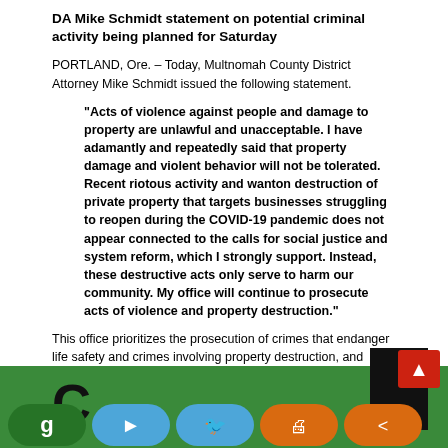DA Mike Schmidt statement on potential criminal activity being planned for Saturday
PORTLAND, Ore. – Today, Multnomah County District Attorney Mike Schmidt issued the following statement.
“Acts of violence against people and damage to property are unlawful and unacceptable. I have adamantly and repeatedly said that property damage and violent behavior will not be tolerated. Recent riotous activity and wanton destruction of private property that targets businesses struggling to reopen during the COVID-19 pandemic does not appear connected to the calls for social justice and system reform, which I strongly support. Instead, these destructive acts only serve to harm our community. My office will continue to prosecute acts of violence and property destruction.”
This office prioritizes the prosecution of crimes that endanger life safety and crimes involving property destruction, and reviews all felony and misdemeanor criminal cases that are referred by law enforcement. These misdemeanor crimes, among others, include Attempted Assaulting a Public Safety Officer, Interfering with a Peace or Public Safety Officer, Resisting Arrest and Disorderly Conduct.
[Figure (infographic): Bottom social sharing bar with green background, icons for Gettr (g), Telegram, Twitter, Print, and Share buttons, plus a black bar and red scroll-to-top button on the right.]